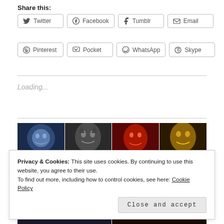Share this:
Twitter
Facebook
Tumblr
Email
Pinterest
Pocket
WhatsApp
Skype
Loading...
[Figure (photo): Row of fantasy book covers with animal/creature faces in blue, grey, red, and gold tones]
Privacy & Cookies: This site uses cookies. By continuing to use this website, you agree to their use.
To find out more, including how to control cookies, see here: Cookie Policy
Close and accept